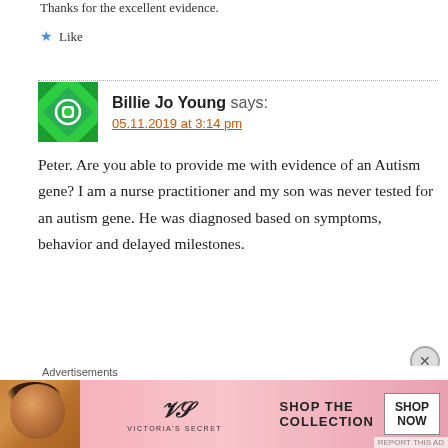Thanks for the excellent evidence.
★ Like
Billie Jo Young says:
05.11.2019 at 3:14 pm
Peter. Are you able to provide me with evidence of an Autism gene? I am a nurse practitioner and my son was never tested for an autism gene. He was diagnosed based on symptoms, behavior and delayed milestones.
[Figure (other): Victoria's Secret advertisement banner with model and SHOP THE COLLECTION / SHOP NOW button]